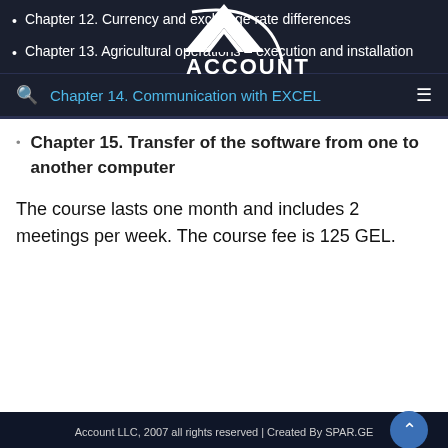Chapter 12. Currency and exchange rate differences
Chapter 13. Agricultural operations – execution and installation
[Figure (logo): Account LLC logo: white geometric mountain/triangle shape with 'ACCOUNT' text below, on dark background]
Chapter 14. Communication with EXCEL
Chapter 15. Transfer of the software from one to another computer
The course lasts one month and includes 2 meetings per week. The course fee is 125 GEL.
Account LLC, 2007 all rights reserved | Created By SPAR.GE